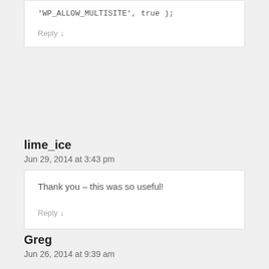'WP_ALLOW_MULTISITE', true );
Reply
lime_ice
Jun 29, 2014 at 3:43 pm
Thank you – this was so useful!
Reply
Greg
Jun 26, 2014 at 9:39 am